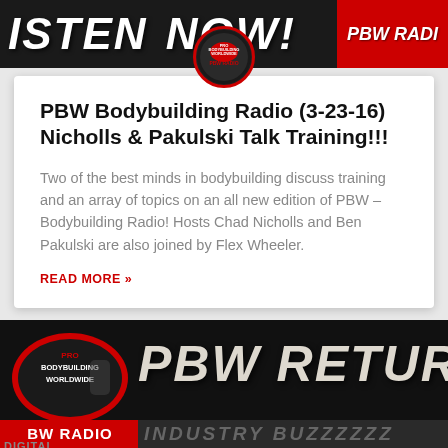[Figure (illustration): PBW Radio top banner with 'LISTEN NOW!' text and red PBW RADIO badge, dark background with logo circle]
PBW Bodybuilding Radio (3-23-16) Nicholls & Pakulski Talk Training!!!
Two of the best minds in bodybuilding discuss training and an array of topics on an all new edition of PBW – Bodybuilding Radio!  Hosts Chad Nicholls and Ben Pakulski are also joined by Flex Wheeler.
READ MORE »
[Figure (illustration): PBW Return bottom banner with Pro Bodybuilding Worldwide logo on left, large 'PBW RETURN' text, BW RADIO red badge, and INDUSTRY BUZZZZZ text on dark background]